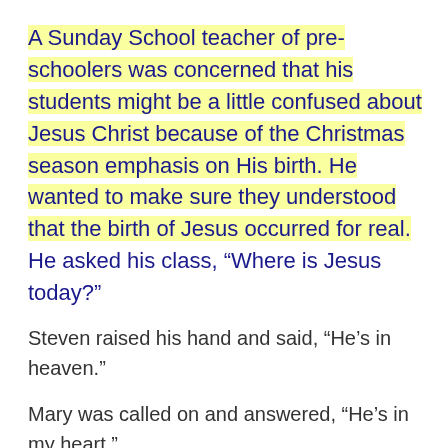A Sunday School teacher of pre-schoolers was concerned that his students might be a little confused about Jesus Christ because of the Christmas season emphasis on His birth. He wanted to make sure they understood that the birth of Jesus occurred for real.
He asked his class, “Where is Jesus today?”
Steven raised his hand and said, “He’s in heaven.”
Mary was called on and answered, “He’s in my heart.”
Little Johnny, waving his hand furiously, blurted out, “I know, I know! He’s in our bathroom!!!”